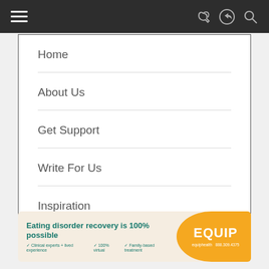Navigation menu bar with hamburger icon and search/share icons
Home
About Us
Get Support
Write For Us
Inspiration
[Figure (infographic): Ad banner: Eating disorder recovery is 100% possible. Clinical experts + lived experience. 100% virtual. Family-based treatment. EQUIP logo. equiphealth 888.309.4375]